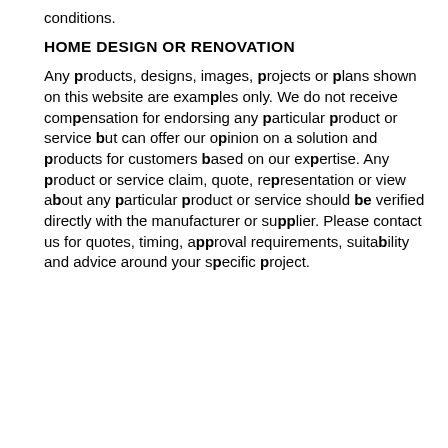conditions.
HOME DESIGN OR RENOVATION
Any products, designs, images, projects or plans shown on this website are examples only. We do not receive compensation for endorsing any particular product or service but can offer our opinion on a solution and products for customers based on our expertise. Any product or service claim, quote, representation or view about any particular product or service should be verified directly with the manufacturer or supplier. Please contact us for quotes, timing, approval requirements, suitability and advice around your specific project.